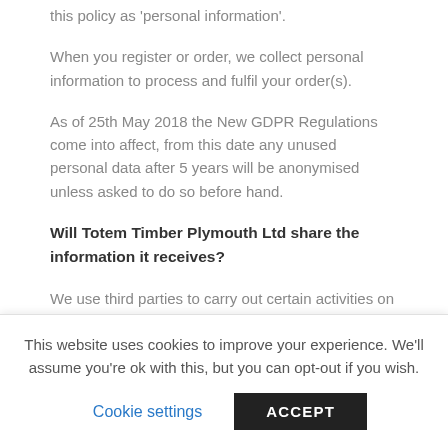this policy as 'personal information'.
When you register or order, we collect personal information to process and fulfil your order(s).
As of 25th May 2018 the New GDPR Regulations come into affect, from this date any unused personal data after 5 years will be anonymised unless asked to do so before hand.
Will Totem Timber Plymouth Ltd share the information it receives?
We use third parties to carry out certain activities on our behalf. Examples include processing credit/debit card payments.
This website uses cookies to improve your experience. We'll assume you're ok with this, but you can opt-out if you wish.